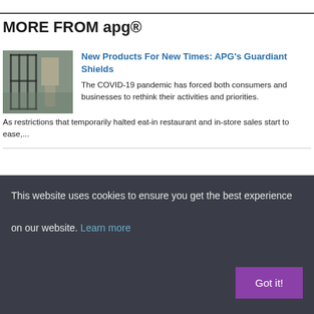MORE FROM apg®
[Figure (photo): Photo of a store interior with partition screens/shields]
New Products For New Times: APG's Guardiant Shields
The COVID-19 pandemic has forced both consumers and businesses to rethink their activities and priorities. As restrictions that temporarily halted eat-in restaurant and in-store sales start to ease,...
Why Retailers Should Include Cash Payments As Part Of Their Post Pandemic Payment Strategy?
The pandemic has brought new energy to the cashless movement, but cash
This website uses cookies to ensure you get the best experience on our website. Learn more